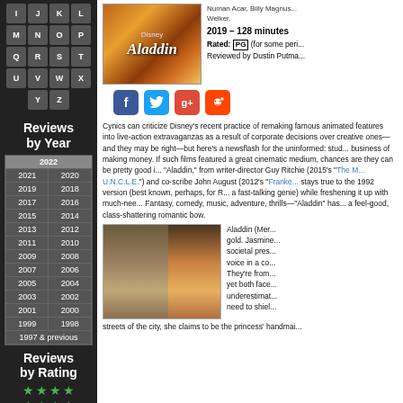I J K L
M N O P
Q R S T
U V W X
Y Z
Reviews by Year
| Year | Year |
| --- | --- |
| 2022 |  |
| 2021 | 2020 |
| 2019 | 2018 |
| 2017 | 2016 |
| 2015 | 2014 |
| 2013 | 2012 |
| 2011 | 2010 |
| 2009 | 2008 |
| 2007 | 2006 |
| 2005 | 2004 |
| 2003 | 2002 |
| 2001 | 2000 |
| 1999 | 1998 |
| 1997 & previous |  |
Reviews by Rating
[Figure (other): Green star rating icons]
Numan Acar, Billy Magnus... Welker.
2019 – 128 minutes
Rated: PG (for some peri...
Reviewed by Dustin Putma...
[Figure (photo): Aladdin movie poster with golden orange background]
[Figure (infographic): Social media share icons: Facebook, Twitter, Google+, Reddit]
Cynics can criticize Disney's recent practice of remaking famous animated features into live-action extravaganzas as a result of corporate decisions over creative ones—and they may be right—but here's a newsflash for the uninformed: studios are in the business of making money. If such films featured a great cinematic medium, chances are they can be pretty good indeed. "Aladdin," from writer-director Guy Ritchie (2015's "The Man from U.N.C.L.E.") and co-scribe John August (2012's "Frankenweenie"), stays true to the 1992 version (best known, perhaps, for Robin Williams' a fast-talking genie) while freshening it up with much-needed updates. Fantasy, comedy, music, adventure, thrills—"Aladdin" has it all, tied into a feel-good, class-shattering romantic bow.
[Figure (photo): Two women from the Aladdin film, one in traditional dress]
Aladdin (Mer... gold. Jasmine... societal press... voice in a com... They're from... yet both face... underestimat... need to shiel...
streets of the city, she claims to be the princess' handmaid...